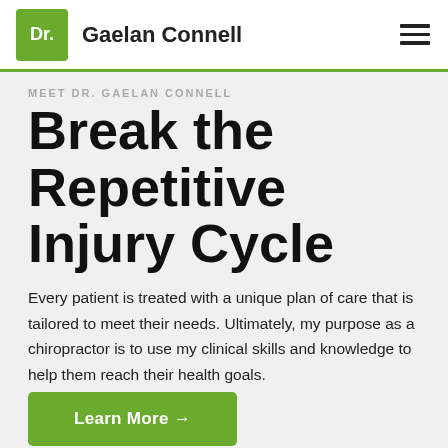Dr. Gaelan Connell
MEET DR. GAELAN CONNELL
Break the Repetitive Injury Cycle
Every patient is treated with a unique plan of care that is tailored to meet their needs. Ultimately, my purpose as a chiropractor is to use my clinical skills and knowledge to help them reach their health goals.
Learn More →